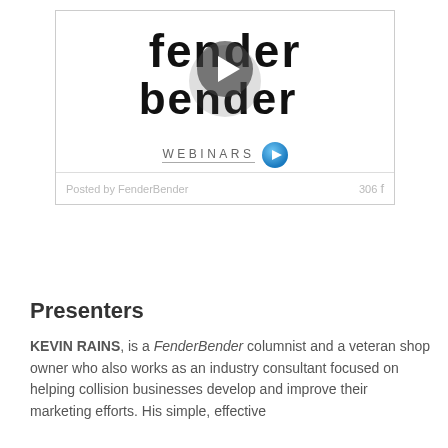[Figure (screenshot): FenderBender Webinars video thumbnail with logo text 'fender bender' in bold distressed font, a play button overlay in the center, 'WEBINARS' text with underline, a blue circular play button, and a footer bar showing 'Posted by FenderBender' and '306 f' social share count.]
Presenters
KEVIN RAINS, is a FenderBender columnist and a veteran shop owner who also works as an industry consultant focused on helping collision businesses develop and improve their marketing efforts. His simple, effective